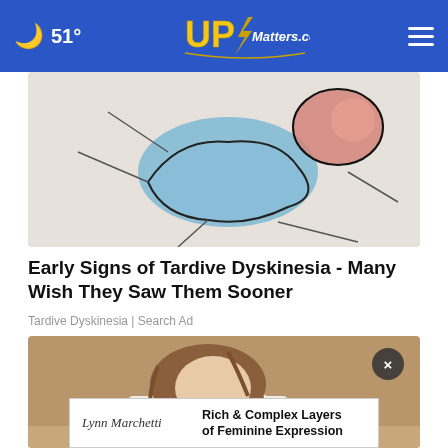51° UPMatters.com
[Figure (illustration): Abstract artistic illustration with blue fluid shape and pink/red accent, on a light background - related to Tardive Dyskinesia article]
Early Signs of Tardive Dyskinesia - Many Wish They Saw Them Sooner
Tardive Dyskinesia | Search Ad
[Figure (photo): Photo of a child with brown hair leaning over a table, wearing a white shirt]
[Figure (other): Advertisement banner: signature logo 'Lynn Marchetti' with text 'Rich & Complex Layers of Feminine Expression']